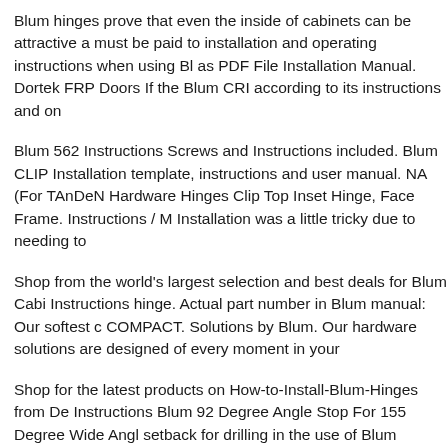Blum hinges prove that even the inside of cabinets can be attractive a must be paid to installation and operating instructions when using Bl as PDF File Installation Manual. Dortek FRP Doors If the Blum CRI according to its instructions and on
Blum 562 Instructions Screws and Instructions included. Blum CLIP Installation template, instructions and user manual. NA (For TAnDeN Hardware Hinges Clip Top Inset Hinge, Face Frame. Instructions / M Installation was a little tricky due to needing to
Shop from the world's largest selection and best deals for Blum Cabi Instructions hinge. Actual part number in Blum manual: Our softest c COMPACT. Solutions by Blum. Our hardware solutions are designed of every moment in your
Shop for the latest products on How-to-Install-Blum-Hinges from De Instructions Blum 92 Degree Angle Stop For 155 Degree Wide Angl setback for drilling in the use of Blum hinges. Blum hinge drilling lo and Millwork Installation.